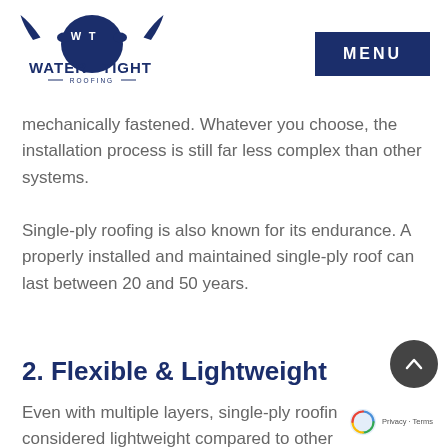Water Tight Roofing | MENU
mechanically fastened. Whatever you choose, the installation process is still far less complex than other systems.
Single-ply roofing is also known for its endurance. A properly installed and maintained single-ply roof can last between 20 and 50 years.
2. Flexible & Lightweight
Even with multiple layers, single-ply roofing is considered lightweight compared to other